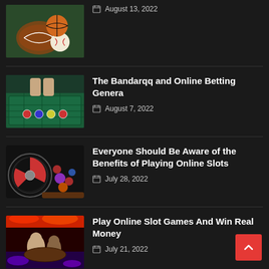[Figure (photo): Sports balls (football, baseball, basketball) on green surface]
August 13, 2022
[Figure (photo): Casino roulette table with dealer hands and chips]
The Bandarqq and Online Betting Genera
August 7, 2022
[Figure (photo): Roulette wheel with colorful chips on casino table]
Everyone Should Be Aware of the Benefits of Playing Online Slots
July 28, 2022
[Figure (photo): Casino interior with slot machines and people playing]
Play Online Slot Games And Win Real Money
July 21, 2022
[Figure (photo): Casino interior with slot machines and colorful lights]
The Best Online Casino To Play Slot Game
July 20, 2022